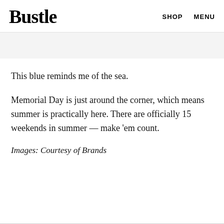Bustle  SHOP  MENU
This blue reminds me of the sea.
Memorial Day is just around the corner, which means summer is practically here. There are officially 15 weekends in summer — make 'em count.
Images: Courtesy of Brands